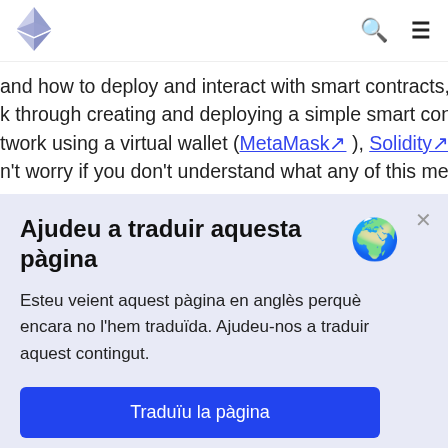Ethereum logo, search icon, menu icon
and how to deploy and interact with smart contracts, th k through creating and deploying a simple smart contra twork using a virtual wallet (MetaMask↗), Solidity↗, H n't worry if you don't understand what any of this means
Ajudeu a traduir aquesta pàgina
Esteu veient aquest pàgina en anglès perquè encara no l'hem traduïda. Ajudeu-nos a traduir aquest contingut.
Traduïu la pàgina